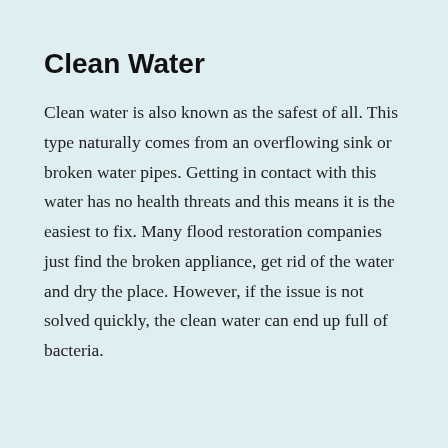Clean Water
Clean water is also known as the safest of all. This type naturally comes from an overflowing sink or broken water pipes. Getting in contact with this water has no health threats and this means it is the easiest to fix. Many flood restoration companies just find the broken appliance, get rid of the water and dry the place. However, if the issue is not solved quickly, the clean water can end up full of bacteria.